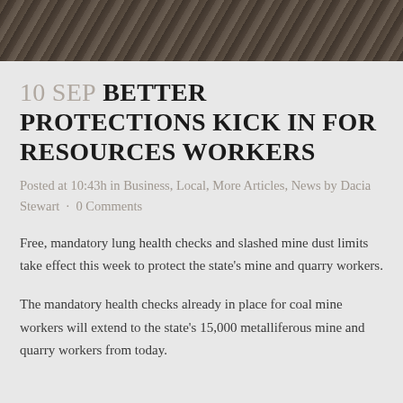[Figure (photo): Partial photo strip showing textured rocky or mineral surface, cropped at bottom edge, dark brown and grey tones]
10 SEP BETTER PROTECTIONS KICK IN FOR RESOURCES WORKERS
Posted at 10:43h in Business, Local, More Articles, News by Dacia Stewart · 0 Comments
Free, mandatory lung health checks and slashed mine dust limits take effect this week to protect the state's mine and quarry workers.
The mandatory health checks already in place for coal mine workers will extend to the state's 15,000 metalliferous mine and quarry workers from today.